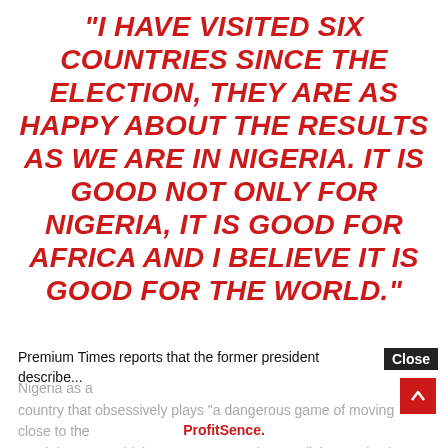“I HAVE VISITED SIX COUNTRIES SINCE THE ELECTION, THEY ARE AS HAPPY ABOUT THE RESULTS AS WE ARE IN NIGERIA. IT IS GOOD NOT ONLY FOR NIGERIA, IT IS GOOD FOR AFRICA AND I BELIEVE IT IS GOOD FOR THE WORLD.”
Premium Times reports that the former president describe...
Nigeria as a country that obsessively plays “a dangerous game of moving close to the precipice”. He said the country came close to disintegration in the
ProfitSence.